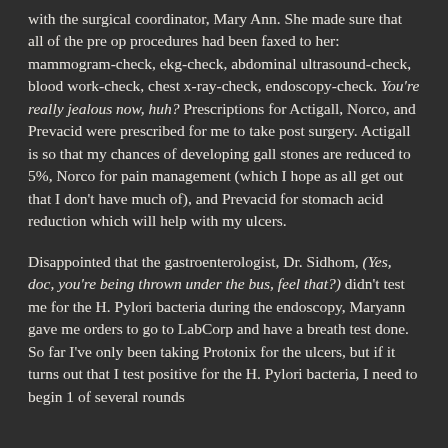with the surgical coordinator, Mary Ann. She made sure that all of the pre op procedures had been faxed to her: mammogram-check, ekg-check, abdominal ultrasound-check, blood work-check, chest x-ray-check, endoscopy-check. You're really jealous now, huh? Prescriptions for Actigall, Norco, and Prevacid were prescribed for me to take post surgery. Actigall is so that my chances of developing gall stones are reduced to 5%, Norco for pain management (which I hope as all get out that I don't have much of), and Prevacid for stomach acid reduction which will help with my ulcers.
Disappointed that the gastroenterologist, Dr. Sidhom, (Yes, doc, you're being thrown under the bus, feel that?) didn't test me for the H. Pylori bacteria during the endoscopy, Maryann gave me orders to go to LabCorp and have a breath test done. So far I've only been taking Protonix for the ulcers, but if it turns out that I test positive for the H. Pylori bacteria, I need to begin 1 of several rounds